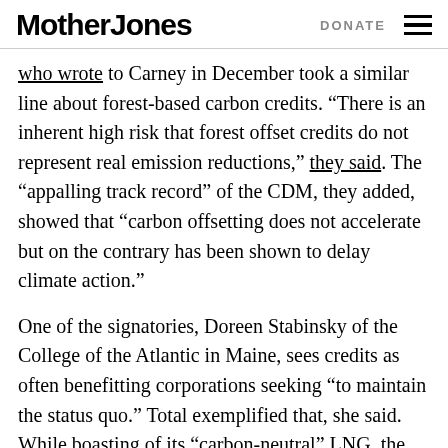Mother Jones   DONATE
who wrote to Carney in December took a similar line about forest-based carbon credits. “There is an inherent high risk that forest offset credits do not represent real emission reductions,” they said. The “appalling track record” of the CDM, they added, showed that “carbon offsetting does not accelerate but on the contrary has been shown to delay climate action.”
One of the signatories, Doreen Stabinsky of the College of the Atlantic in Maine, sees credits as often benefitting corporations seeking “to maintain the status quo.” Total exemplified that, she said. While boasting of its “carbon-neutral” LNG, the